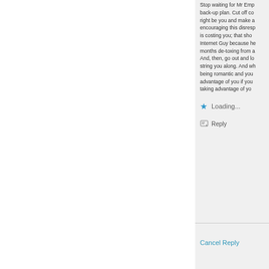Stop waiting for Mr Emp... back-up plan. Cut off co... right be you and make a... encouraging this disresp... is costing you; that sho... Internet Guy because he... months de-toxing from a... And, then, go out and lo... string you along. And wh... being romantic and you ... advantage of you if you ... taking advantage of yo...
Loading...
Reply
Cancel Reply